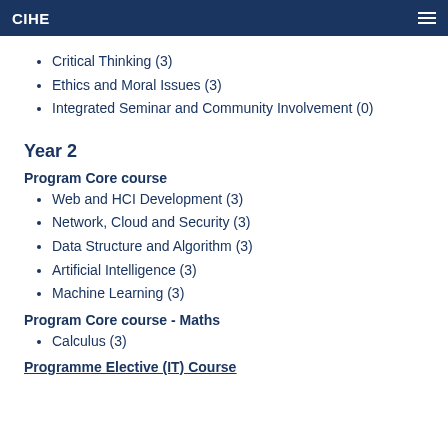CIHE
Critical Thinking (3)
Ethics and Moral Issues (3)
Integrated Seminar and Community Involvement (0)
Year 2
Program Core course
Web and HCI Development (3)
Network, Cloud and Security (3)
Data Structure and Algorithm (3)
Artificial Intelligence (3)
Machine Learning (3)
Program Core course - Maths
Calculus (3)
Programme Elective (IT) Course